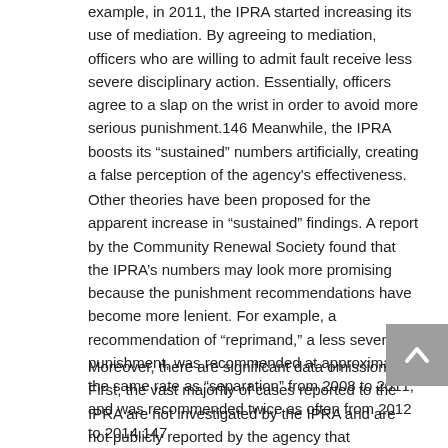example, in 2011, the IPRA started increasing its use of mediation. By agreeing to mediation, officers who are willing to admit fault receive less severe disciplinary action. Essentially, officers agree to a slap on the wrist in order to avoid more serious punishment.146 Meanwhile, the IPRA boosts its “sustained” numbers artificially, creating a false perception of the agency's effectiveness.
Other theories have been proposed for the apparent increase in “sustained” findings. A report by the Community Renewal Society found that the IPRA’s numbers may look more promising because the punishment recommendations have become more lenient. For example, a recommendation of “reprimand,” a less severe punishment, was recommended at approximately the same rate as “separation” from 2008 to 2011, and was recommended twice as often from 2012 to 2014.147
Moreover, there are significant data omissions. First, the vast majority of cases reported to the IPRA are not investigated by the IPRA and are not publicly reported by the agency that investigates them, since they are transferred outside of IPRA. Second, among the complaints that the IPRA investigates and also reports on disciplinary action. For example, in 2015, th